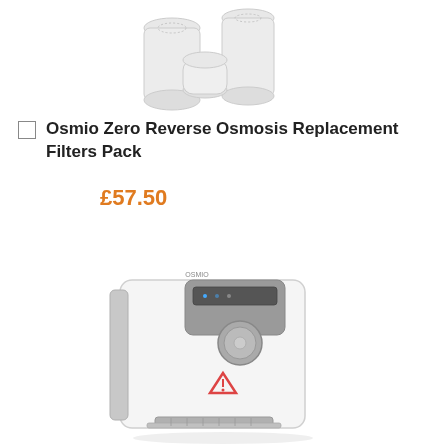[Figure (photo): Three white cylindrical water filter cartridges grouped together]
Osmio Zero Reverse Osmosis Replacement Filters Pack
£57.50
[Figure (photo): White countertop water dispenser/purifier machine with silver accents, digital display panel, rotary dial, red warning symbol, and silver drip tray]